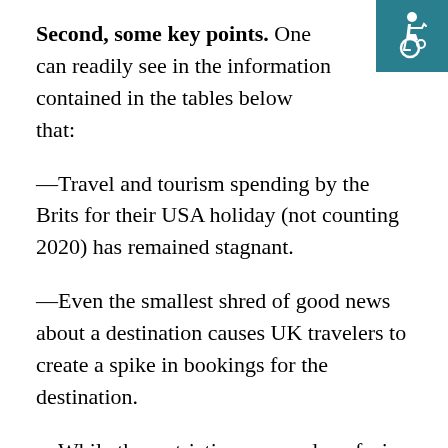[Figure (illustration): Wheelchair accessibility icon — white symbol on teal/dark cyan square background, top-right corner]
Second, some key points. One can readily see in the information contained in the tables below that:
—Travel and tourism spending by the Brits for their USA holiday (not counting 2020) has remained stagnant.
—Even the smallest shred of good news about a destination causes UK travelers to create a spike in bookings for the destination.
—While the restrictions on, and confusion about, on non-essential UK travel abroad has dampened enthusiasm over long-haul travel,